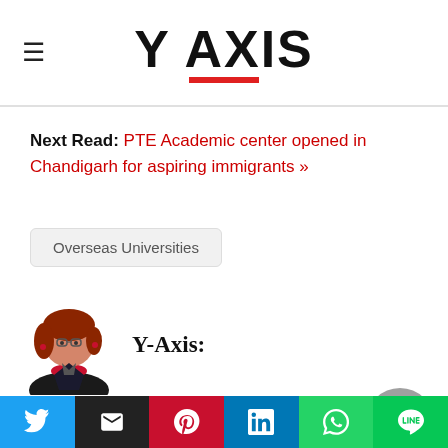Y AXIS
Next Read: PTE Academic center opened in Chandigarh for aspiring immigrants »
Overseas Universities
Y-Axis:
Related Post
Everything you need to know about
Social share buttons: Twitter, Email, Pinterest, LinkedIn, WhatsApp, Line